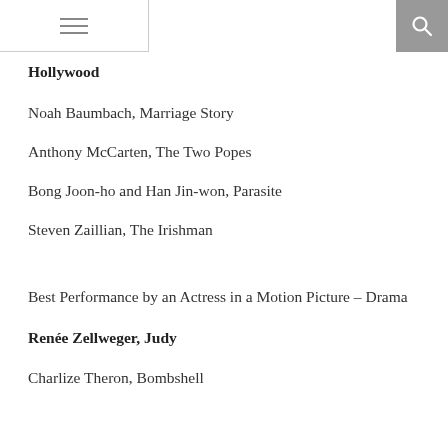[hamburger menu] [search bar] [search icon]
Hollywood
Noah Baumbach, Marriage Story
Anthony McCarten, The Two Popes
Bong Joon-ho and Han Jin-won, Parasite
Steven Zaillian, The Irishman
Best Performance by an Actress in a Motion Picture – Drama
Renée Zellweger, Judy
Charlize Theron, Bombshell